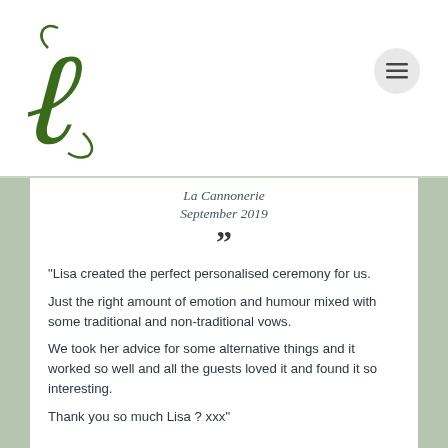[Figure (logo): Decorative cursive letter L in dark green, serving as a brand logo]
La Cannonerie
September 2019
“Lisa created the perfect personalised ceremony for us.

Just the right amount of emotion and humour mixed with some traditional and non-traditional vows.

We took her advice for some alternative things and it worked so well and all the guests loved it and found it so interesting.

Thank you so much Lisa ? xxx"